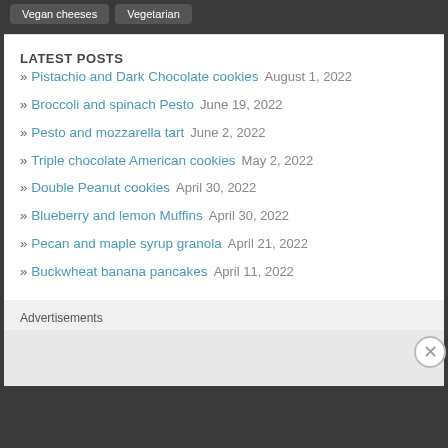Vegan cheeses
Vegetarian
LATEST POSTS
Pistachio and Dark Chocolate cookies  August 1, 2022
Broccoli and spinach Pesto  June 19, 2022
Pesto and mozzarella tart  June 2, 2022
Triple chocolate American cookies  May 2, 2022
Double Peanut cookies  April 30, 2022
Blueberry and lemon Muffins  April 30, 2022
Pecan and maple syrup granola  April 21, 2022
Buckwheat banana pancakes  April 11, 2022
Advertisements